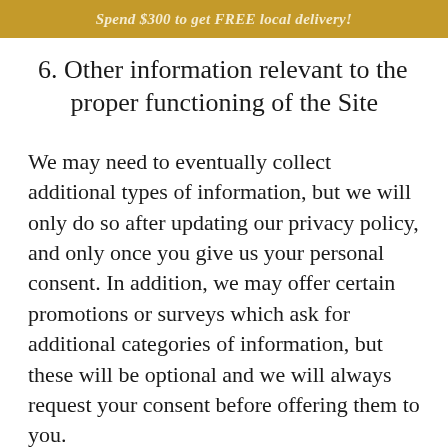Spend $300 to get FREE local delivery!
6. Other information relevant to the proper functioning of the Site
We may need to eventually collect additional types of information, but we will only do so after updating our privacy policy, and only once you give us your personal consent. In addition, we may offer certain promotions or surveys which ask for additional categories of information, but these will be optional and we will always request your consent before offering them to you.